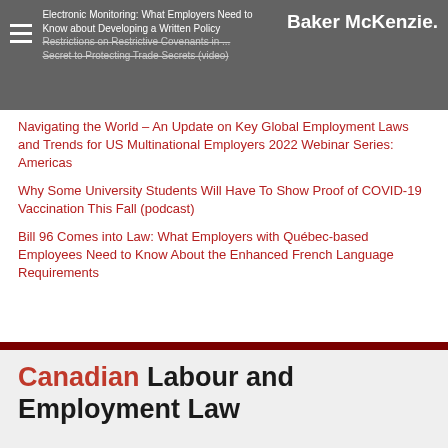Electronic Monitoring: What Employers Need to Know about Developing a Written Policy | Restrictions on Restrictive Covenants in ... | Secret to Protecting Trade Secrets (video)
Navigating the World – An Update on Key Global Employment Laws and Trends for US Multinational Employers 2022 Webinar Series: Americas
Why Some University Students Will Have To Show Proof of COVID-19 Vaccination This Fall (podcast)
Bill 96 Comes into Law: What Employers with Québec-based Employees Need to Know About the Enhanced French Language Requirements
Canadian Labour and Employment Law